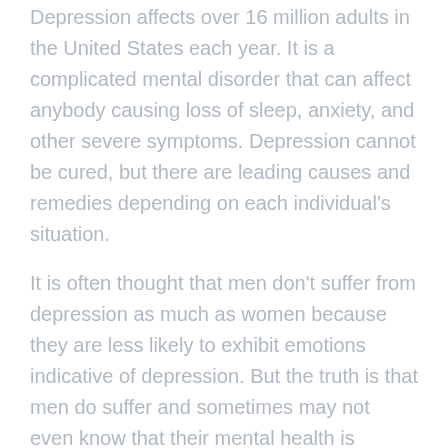Depression affects over 16 million adults in the United States each year. It is a complicated mental disorder that can affect anybody causing loss of sleep, anxiety, and other severe symptoms. Depression cannot be cured, but there are leading causes and remedies depending on each individual's situation.
It is often thought that men don't suffer from depression as much as women because they are less likely to exhibit emotions indicative of depression. But the truth is that men do suffer and sometimes may not even know that their mental health is unstable.
In this article, we're discussing how low testosterone can affect men (and women) in so much to cause depression. It's called low testosterone depression.